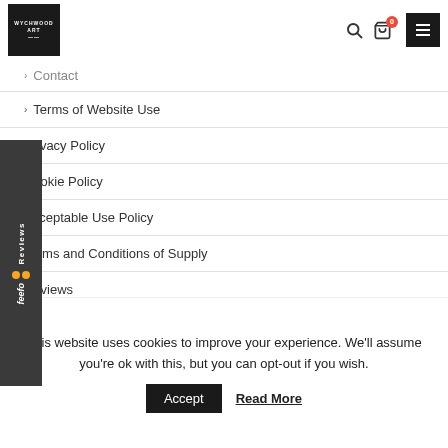Wychwood Art Gallery - logo, search, cart, menu
Contact
Terms of Website Use
Privacy Policy
Cookie Policy
Acceptable Use Policy
Terms and Conditions of Supply
Reviews
This website uses cookies to improve your experience. We'll assume you're ok with this, but you can opt-out if you wish.
Accept  Read More